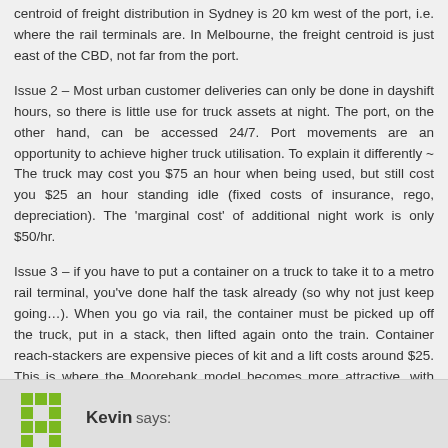centroid of freight distribution in Sydney is 20 km west of the port, i.e. where the rail terminals are. In Melbourne, the freight centroid is just east of the CBD, not far from the port.
Issue 2 – Most urban customer deliveries can only be done in dayshift hours, so there is little use for truck assets at night. The port, on the other hand, can be accessed 24/7. Port movements are an opportunity to achieve higher truck utilisation. To explain it differently ~ The truck may cost you $75 an hour when being used, but still cost you $25 an hour standing idle (fixed costs of insurance, rego, depreciation). The 'marginal cost' of additional night work is only $50/hr.
Issue 3 – if you have to put a container on a truck to take it to a metro rail terminal, you've done half the task already (so why not just keep going…). When you go via rail, the container must be picked up off the truck, put in a stack, then lifted again onto the train. Container reach-stackers are expensive pieces of kit and a lift costs around $25. This is where the Moorebank model becomes more attractive, with logistics facilities co-located at the terminal. *Hopefully*.. containers lifted straight onto a rail wagon.
Reply
Kevin says: